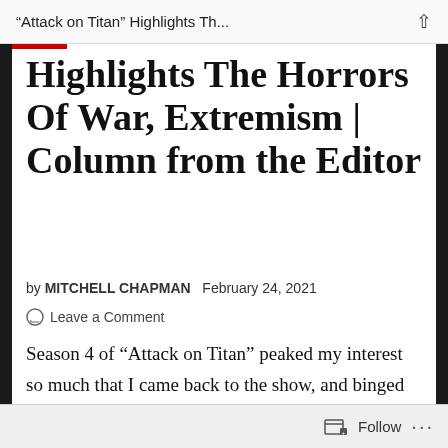“Attack on Titan” Highlights Th...
Highlights The Horrors Of War, Extremism | Column from the Editor
by MITCHELL CHAPMAN   February 24, 2021
Leave a Comment
Season 4 of “Attack on Titan” peaked my interest so much that I came back to the show, and binged Seasons 2 and 3 to catch up. I had dropped the show years ago after its first season when it came out, as it just emotionally drained me, with the show
Follow ...